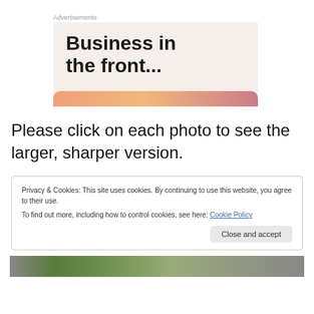Advertisements
[Figure (illustration): Advertisement banner with text 'Business in the front...' on a light beige/pink background with a colorful gradient bar at the bottom]
Please click on each photo to see the larger, sharper version.
Privacy & Cookies: This site uses cookies. By continuing to use this website, you agree to their use.
To find out more, including how to control cookies, see here: Cookie Policy
Close and accept
[Figure (photo): Partial photo of what appears to be an owl or bird, visible at the bottom of the page]